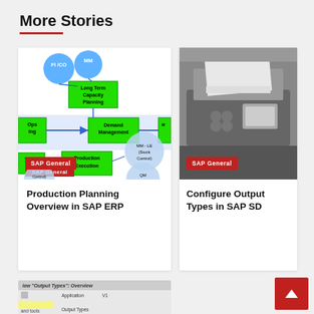More Stories
[Figure (flowchart): SAP Production Planning flowchart showing FI/CO and MM modules feeding into Long Term Capacity Planning, then Ops Planning to Demand Management, and Production Execution with MM-LE Stock Control and QM Quality Control]
SAP General
Production Planning Overview in SAP ERP
[Figure (photo): Black and white photo of a printer/fax machine with paper output]
SAP General
Configure Output Types in SAP SD
[Figure (screenshot): Partial screenshot showing 'Output Types: Overview' SAP screen with Application field showing V1 and Output Types label]